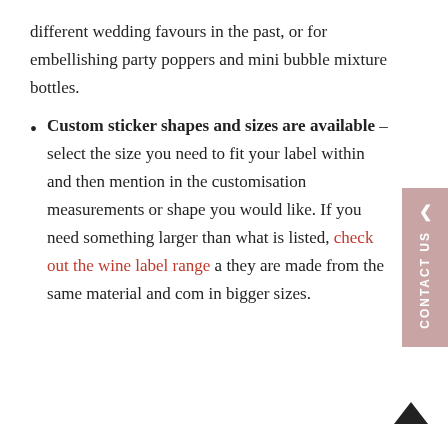different wedding favours in the past, or for embellishing party poppers and mini bubble mixture bottles.
Custom sticker shapes and sizes are available – select the size you need to fit your label within and then mention in the customisation measurements or shape you would like. If you need something larger than what is listed, check out the wine label range as they are made from the same material and come in bigger sizes.